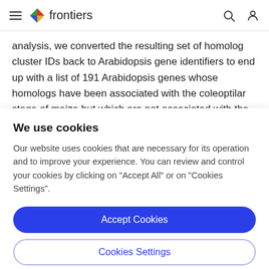frontiers
analysis, we converted the resulting set of homolog cluster IDs back to Arabidopsis gene identifiers to end up with a list of 191 Arabidopsis genes whose homologs have been associated with the coleoptilar stage of maize but which are not associated with the cotyledonary stage in
We use cookies
Our website uses cookies that are necessary for its operation and to improve your experience. You can review and control your cookies by clicking on "Accept All" or on "Cookies Settings".
Accept Cookies
Cookies Settings